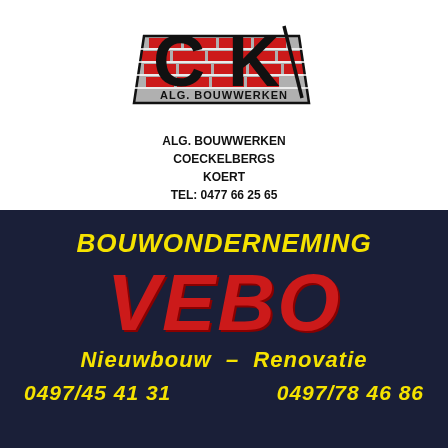[Figure (logo): CK Alg. Bouwwerken logo with large black CK letters over a red brick pattern background, with 'ALG. BOUWWERKEN' text on a parallelogram shape]
ALG. BOUWWERKEN
COECKELBERGS
KOERT
TEL: 0477 66 25 65
[Figure (logo): Dark navy advertisement banner for Bouwonderneming VEBO with yellow and red text showing company name, services (Nieuwbouw - Renovatie) and phone numbers]
BOUWONDERNEMING
VEBO
Nieuwbouw – Renovatie
0497/45 41 31    0497/78 46 86